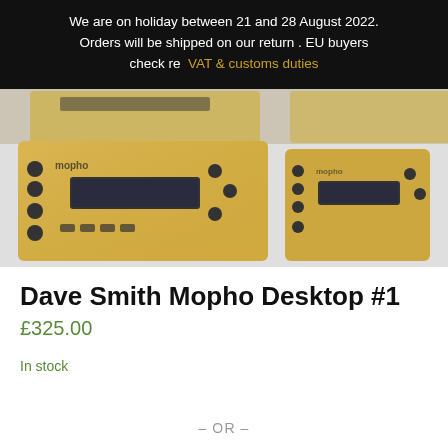We are on holiday between 21 and 28 August 2022. Orders will be shipped on our return . EU buyers check re VAT & customs duties
[Figure (photo): Product photo showing two Dave Smith Mopho Desktop synthesizer units in gold/yellow color with black knobs and display, shown from a slightly elevated angle. A third unit is partially visible in the upper portion.]
Dave Smith Mopho Desktop #1
£325.00
In stock
– OR –